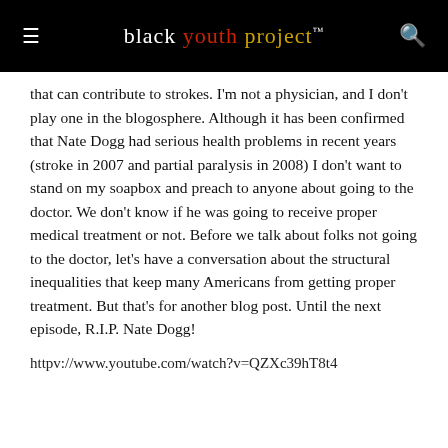black youth project™
that can contribute to strokes. I'm not a physician, and I don't play one in the blogosphere. Although it has been confirmed that Nate Dogg had serious health problems in recent years (stroke in 2007 and partial paralysis in 2008) I don't want to stand on my soapbox and preach to anyone about going to the doctor. We don't know if he was going to receive proper medical treatment or not. Before we talk about folks not going to the doctor, let's have a conversation about the structural inequalities that keep many Americans from getting proper treatment. But that's for another blog post. Until the next episode, R.I.P. Nate Dogg!
httpv://www.youtube.com/watch?v=QZXc39hT8t4